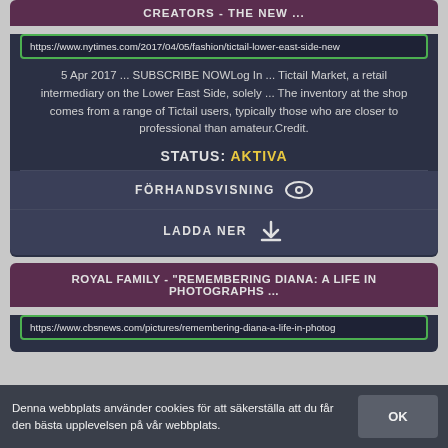CREATORS - THE NEW ...
https://www.nytimes.com/2017/04/05/fashion/tictail-lower-east-side-new
5 Apr 2017 ... SUBSCRIBE NOWLog In ... Tictail Market, a retail intermediary on the Lower East Side, solely ... The inventory at the shop comes from a range of Tictail users, typically those who are closer to professional than amateur.Credit.
STATUS: AKTIVA
FÖRHANDSVISNING
LADDA NER
ROYAL FAMILY - "REMEMBERING DIANA: A LIFE IN PHOTOGRAPHS ...
https://www.cbsnews.com/pictures/remembering-diana-a-life-in-photog
Denna webbplats använder cookies för att säkerställa att du får den bästa upplevelsen på vår webbplats.